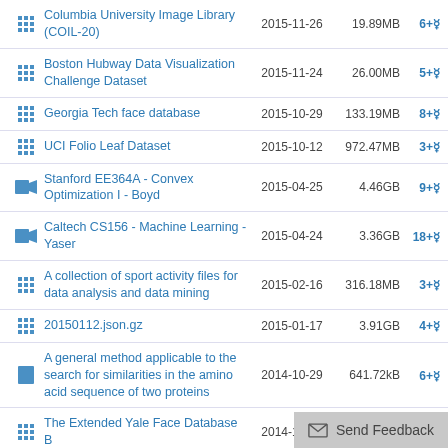| icon | name | date | size | tag |
| --- | --- | --- | --- | --- |
| grid | Columbia University Image Library (COIL-20) | 2015-11-26 | 19.89MB | 6+ |
| grid | Boston Hubway Data Visualization Challenge Dataset | 2015-11-24 | 26.00MB | 5+ |
| grid | Georgia Tech face database | 2015-10-29 | 133.19MB | 8+ |
| grid | UCI Folio Leaf Dataset | 2015-10-12 | 972.47MB | 3+ |
| video | Stanford EE364A - Convex Optimization I - Boyd | 2015-04-25 | 4.46GB | 9+ |
| video | Caltech CS156 - Machine Learning - Yaser | 2015-04-24 | 3.36GB | 18+ |
| grid | A collection of sport activity files for data analysis and data mining | 2015-02-16 | 316.18MB | 3+ |
| grid | 20150112.json.gz | 2015-01-17 | 3.91GB | 4+ |
| doc | A general method applicable to the search for similarities in the amino acid sequence of two proteins | 2014-10-29 | 641.72kB | 6+ |
| grid | The Extended Yale Face Database B | 2014-10-20 | 2.09GB | 9+ |
| grid | The Extended Yale Face Database B (Cropped) | 2014- |  |  |